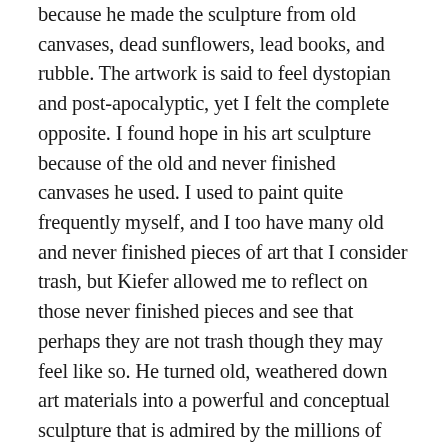because he made the sculpture from old canvases, dead sunflowers, lead books, and rubble. The artwork is said to feel dystopian and post-apocalyptic, yet I felt the complete opposite. I found hope in his art sculpture because of the old and never finished canvases he used. I used to paint quite frequently myself, and I too have many old and never finished pieces of art that I consider trash, but Kiefer allowed me to reflect on those never finished pieces and see that perhaps they are not trash though they may feel like so. He turned old, weathered down art materials into a powerful and conceptual sculpture that is admired by the millions of fans.
Lastly, the second Kiefer work that took my